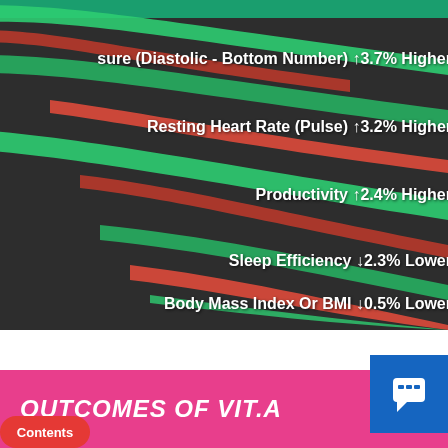[Figure (infographic): Dark background infographic showing health metrics from Vitamin A study with curved green and red ribbon bands and white text labels showing percentage changes for: Blood Pressure (Diastolic - Bottom Number) ↑3.7% Higher, Resting Heart Rate (Pulse) ↑3.2% Higher, Productivity ↑2.4% Higher, Sleep Efficiency ↓2.3% Lower, Body Mass Index Or BMI ↓0.5% Lower]
OUTCOMES OF VIT.A